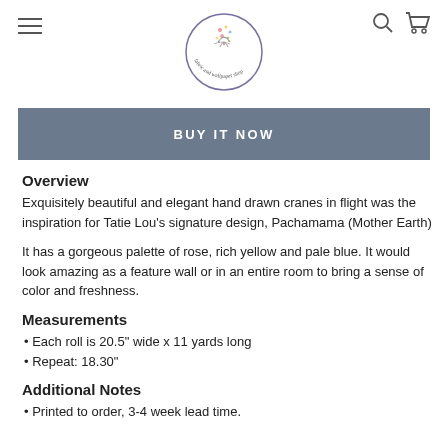[Figure (logo): Circular logo for a fabric and wallpaper shop with floral/bird illustration and text around the border]
BUY IT NOW
Overview
Exquisitely beautiful and elegant hand drawn cranes in flight was the inspiration for Tatie Lou’s signature design, Pachamama (Mother Earth)
It has a gorgeous palette of rose, rich yellow and pale blue. It would look amazing as a feature wall or in an entire room to bring a sense of color and freshness.
Measurements
Each roll is 20.5" wide x 11 yards long
Repeat: 18.30"
Additional Notes
Printed to order, 3-4 week lead time.